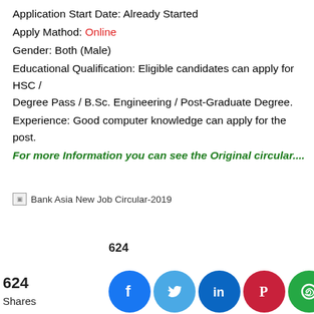Application Start Date: Already Started
Apply Mathod: Online
Gender: Both (Male)
Educational Qualification: Eligible candidates can apply for HSC / Degree Pass / B.Sc. Engineering / Post-Graduate Degree.
Experience: Good computer knowledge can apply for the post.
For more Information you can see the Original circular....
[Figure (photo): Bank Asia New Job Circular-2019 (broken image placeholder)]
624 Shares  (social share icons: Facebook, Twitter, LinkedIn, Pinterest, WhatsApp, Instagram)